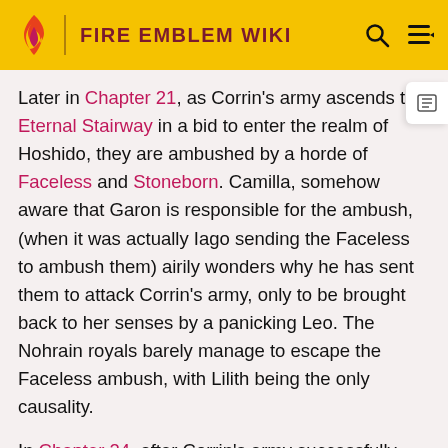FIRE EMBLEM WIKI
Later in Chapter 21, as Corrin's army ascends the Eternal Stairway in a bid to enter the realm of Hoshido, they are ambushed by a horde of Faceless and Stoneborn. Camilla, somehow aware that Garon is responsible for the ambush, (when it was actually Iago sending the Faceless to ambush them) airily wonders why he has sent them to attack Corrin's army, only to be brought back to her senses by a panicking Leo. The Nohrain royals barely manage to escape the Faceless ambush, with Lilith being the only causality.
In Chapter 24, after Corrin's army successfully defeats Hinoka's forces and put a standstill to her attempt to protect Castle Shirasagi, Camilla places her axe against